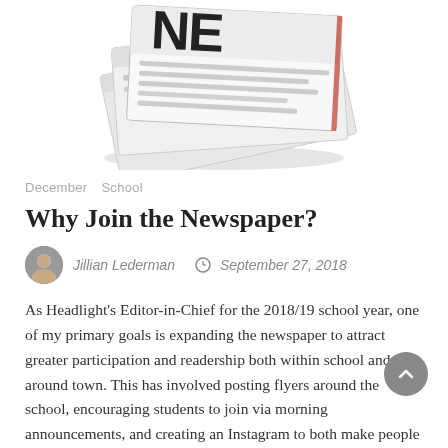[Figure (photo): Stack of folded newspapers photographed from above and slightly to the side, showing newspaper masthead with large dark letters, on white background]
December  School
Why Join the Newspaper?
Jillian Lederman   September 27, 2018
As Headlight's Editor-in-Chief for the 2018/19 school year, one of my primary goals is expanding the newspaper to attract greater participation and readership both within school and around town. This has involved posting flyers around the school, encouraging students to join via morning announcements, and creating an Instagram to both make people more interested in [...]
READ MORE